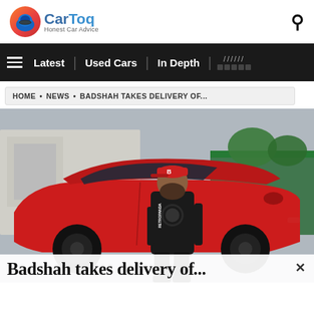[Figure (logo): CarToq logo — circular icon with blue helmet/car graphic on orange/red gradient background, with blue 'CarToq' wordmark and grey 'Honest Car Advice' tagline]
CarToq — Honest Car Advice
Latest | Used Cars | In Depth | ▒▒▒▒▒
HOME • NEWS • BADSHAH TAKES DELIVERY OF...
[Figure (photo): Man in black hoodie (RETROPANDA branding) and red cap standing in front of a red Lamborghini Urus SUV outdoors]
Badshah takes delivery of...